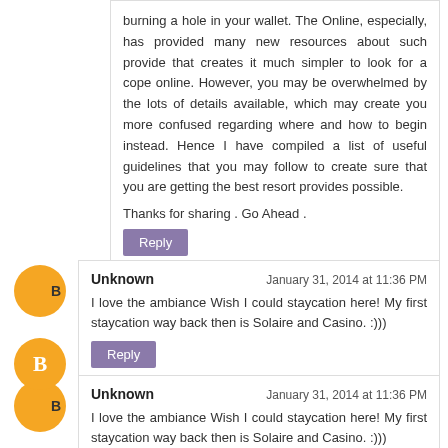burning a hole in your wallet. The Online, especially, has provided many new resources about such provide that creates it much simpler to look for a cope online. However, you may be overwhelmed by the lots of details available, which may create you more confused regarding where and how to begin instead. Hence I have compiled a list of useful guidelines that you may follow to create sure that you are getting the best resort provides possible.
Thanks for sharing . Go Ahead .
Reply
Unknown
January 31, 2014 at 11:36 PM
I love the ambiance Wish I could staycation here! My first staycation way back then is Solaire and Casino. :)))
Reply
Unknown
January 31, 2014 at 11:36 PM
I love the ambiance Wish I could staycation here! My first staycation way back then is Solaire and Casino. :)))